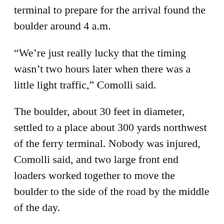terminal to prepare for the arrival found the boulder around 4 a.m.
“We’re just really lucky that the timing wasn’t two hours later when there was a little light traffic,” Comolli said.
The boulder, about 30 feet in diameter, settled to a place about 300 yards northwest of the ferry terminal. Nobody was injured, Comolli said, and two large front end loaders worked together to move the boulder to the side of the road by the middle of the day.
He said this is usually the time of year when landslides happen, and the hillside on that stretch of road is secured by a number of barriers to stop smaller rocks that roll down the hill. There are large logs that usually do a good job stopping rocks